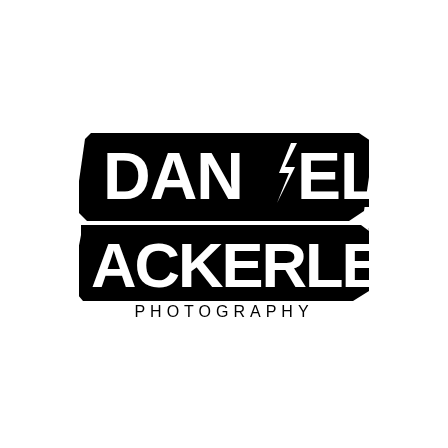[Figure (logo): Daniel Ackerley Photography logo: bold black blocky text with jagged lightning-bolt shadow effect spelling DANIEL ACKERLEY in two lines, with the letter I replaced by a lightning bolt symbol, and PHOTOGRAPHY in spaced sans-serif capitals below.]